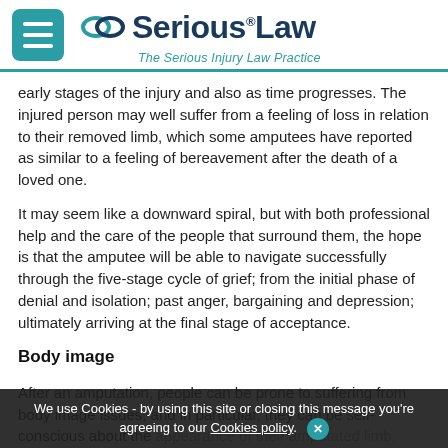Serious Law — The Serious Injury Law Practice
early stages of the injury and also as time progresses. The injured person may well suffer from a feeling of loss in relation to their removed limb, which some amputees have reported as similar to a feeling of bereavement after the death of a loved one.
It may seem like a downward spiral, but with both professional help and the care of the people that surround them, the hope is that the amputee will be able to navigate successfully through the five-stage cycle of grief; from the initial phase of denial and isolation; past anger, bargaining and depression; ultimately arriving at the final stage of acceptance.
Body image
After an amputation, people can be prone to suffering from body image issues, and in particular, they can be self-conscious about the appearance of their amputated limb. Body image issues can be the result of an amputee's interaction with their own outer...